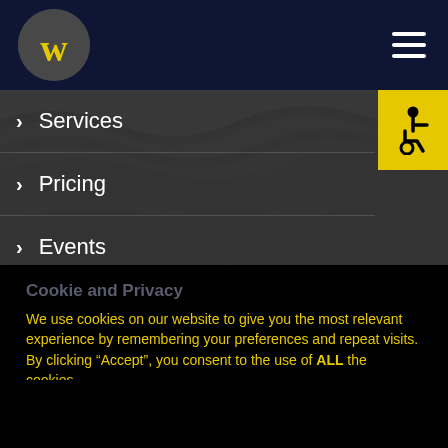[Figure (logo): Circular grey logo with yellow W letter]
[Figure (other): Hamburger menu icon (three white horizontal lines)]
> Services
> Pricing
> Events
[Figure (other): Yellow accessibility (wheelchair) button]
Cookie and Privacy
We use cookies on our website to give you the most relevant experience by remembering your preferences and repeat visits. By clicking “Accept”, you consent to the use of ALL the cookies.
Cookie settings
ACCEPT